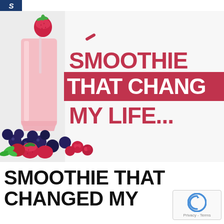S (logo)
[Figure (photo): A pink strawberry smoothie in a tall glass with a straw and a strawberry on top, surrounded by mixed berries (blueberries, strawberries, raspberries) and mint leaves. Text overlay reads: SMOOTHIE THAT CHANG MY LIFE...]
SMOOTHIE THAT CHANGED MY